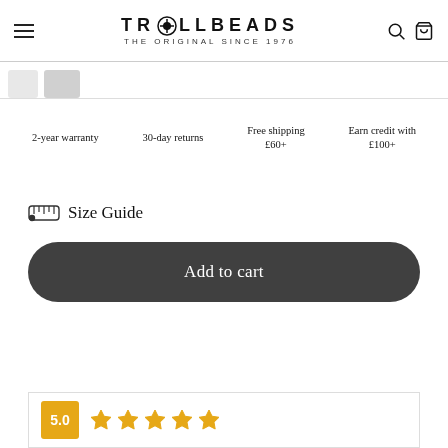TROLLBEADS — THE ORIGINAL SINCE 1976
2-year warranty
30-day returns
Free shipping £60+
Earn credit with £100+
Size Guide
Add to cart
5.0